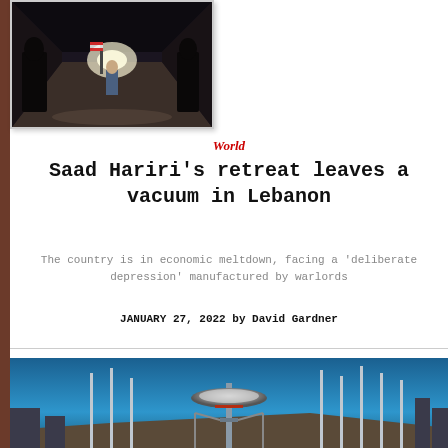[Figure (photo): Dark indoor hallway/corridor with figures, Lebanese flag visible in background]
World
Saad Hariri's retreat leaves a vacuum in Lebanon
The country is in economic meltdown, facing a 'deliberate depression' manufactured by warlords
JANUARY 27, 2022 by David Gardner
[Figure (photo): Futuristic structure with satellite dish and tall poles against a blue sky, likely Davos or international summit location]